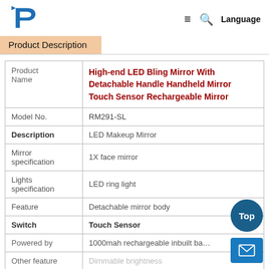Logo | ≡ 🔍 Language
Product Description
|  |  |
| --- | --- |
| Product Name | High-end LED Bling Mirror With Detachable Handle Handheld Mirror Touch Sensor Rechargeable Mirror |
| Model No. | RM291-SL |
| Description | LED Makeup Mirror |
| Mirror specification | 1X face mirror |
| Lights specification | LED ring light |
| Feature | Detachable mirror body |
| Switch | Touch Sensor |
| Powered by | 1000mah rechargeable inbuilt battery |
| Other feature | Dimmable brightness |